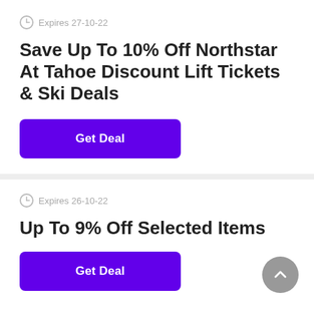Expires 27-10-22
Save Up To 10% Off Northstar At Tahoe Discount Lift Tickets & Ski Deals
Get Deal
Expires 26-10-22
Up To 9% Off Selected Items
Get Deal